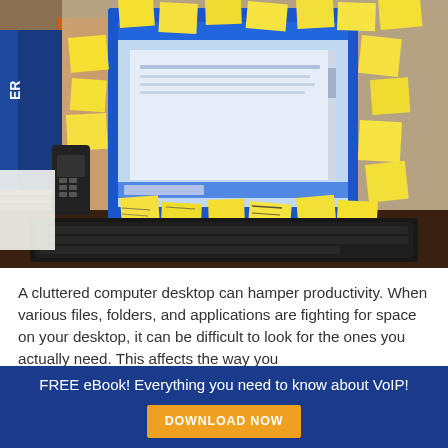[Figure (photo): A cluttered computer desk with a blue-framed monitor covered in yellow post-it notes, an orange binder, a cordless phone, and a black keyboard. The monitor shows a word processing document.]
A cluttered computer desktop can hamper productivity. When various files, folders, and applications are fighting for space on your desktop, it can be difficult to look for the ones you actually need. This affects the way you
FREE eBook! Everything you need to know about VoIP!  DOWNLOAD NOW